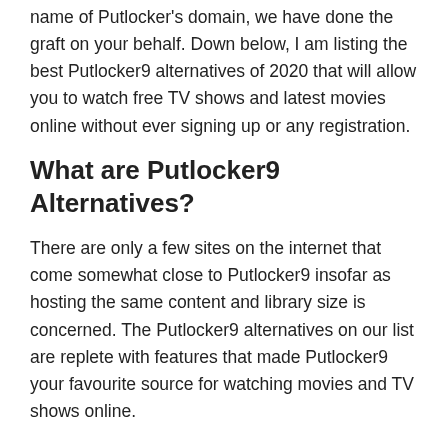name of Putlocker's domain, we have done the graft on your behalf. Down below, I am listing the best Putlocker9 alternatives of 2020 that will allow you to watch free TV shows and latest movies online without ever signing up or any registration.
What are Putlocker9 Alternatives?
There are only a few sites on the internet that come somewhat close to Putlocker9 insofar as hosting the same content and library size is concerned. The Putlocker9 alternatives on our list are replete with features that made Putlocker9 your favourite source for watching movies and TV shows online.
What do they have in common, you ask? Well, similar categories, identical filters for search, one click play and download, and multiple servers for hosting tons of free digital content online. So, are you ready to scroll down and find the best Putlocker9 alternatives and immerse yourself in the realm of free TV shows cum movies online? Let's get started!
Trends are changing in the world right now, you can see towards any sector like technology, movies, and many others. However, it